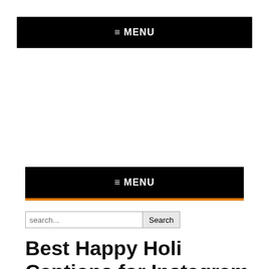≡ MENU
≡ MENU
search...
Best Happy Holi Captions for Instagram Photos 2022